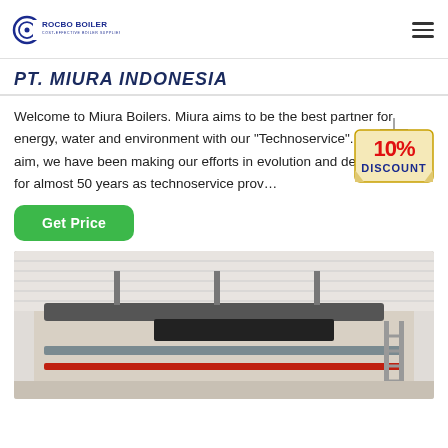ROCBO BOILER — COST-EFFECTIVE BOILER SUPPLIER
PT. MIURA INDONESIA
Welcome to Miura Boilers. Miura aims to be the best partner for energy, water and environment with our "Technoservice". With this aim, we have been making our efforts in evolution and development for almost 50 years as technoservice prov...
[Figure (infographic): 10% DISCOUNT badge — a hanging sign graphic with red bold '10%' and blue 'DISCOUNT' text on a cream/yellow label background with a string hanger]
[Figure (photo): Interior industrial boiler room photo showing overhead pipes and ducts including grey and red pipes mounted to a white corrugated metal ceiling with metal framing and a ladder visible at right]
Get Price